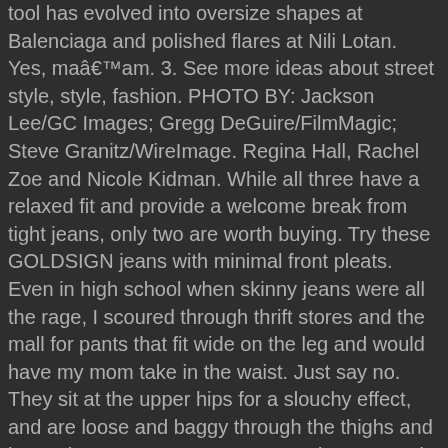tool has evolved into oversize shapes at Balenciaga and polished flares at Nili Lotan. Yes, maâam. 3. See more ideas about street style, style, fashion. PHOTO BY: Jackson Lee/GC Images; Gregg DeGuire/FilmMagic; Steve Granitz/WireImage. Regina Hall, Rachel Zoe and Nicole Kidman. While all three have a relaxed fit and provide a welcome break from tight jeans, only two are worth buying. Try these GOLDSIGN jeans with minimal front pleats. Even in high school when skinny jeans were all the rage, I scoured through thrift stores and the mall for pants that fit wide on the leg and would have my mom take in the waist. Just say no. They sit at the upper hips for a slouchy effect, and are loose and baggy through the thighs and legs. The Coveteur, Coveteurs, and Coveteur'd are trademarks of The Coveteur Inc. And even your oldest, most whiskered and weathered jeans will always look polished and runway ready teamed with a shapely blazer, a tailored coat or a classic trench. This tiny detail enhances the shape and volume of these jeans, giving them a roomy silhouette. The first one is regular fit, which is a classic cut of jeans 2020.